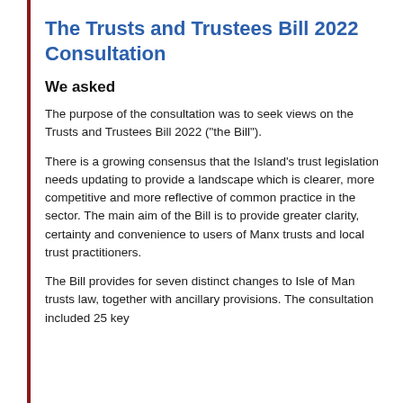The Trusts and Trustees Bill 2022 Consultation
We asked
The purpose of the consultation was to seek views on the Trusts and Trustees Bill 2022 ("the Bill").
There is a growing consensus that the Island's trust legislation needs updating to provide a landscape which is clearer, more competitive and more reflective of common practice in the sector.  The main aim of the Bill is to provide greater clarity, certainty and convenience to users of Manx trusts and local trust practitioners.
The Bill provides for seven distinct changes to Isle of Man trusts law, together with ancillary provisions.  The consultation included 25 key